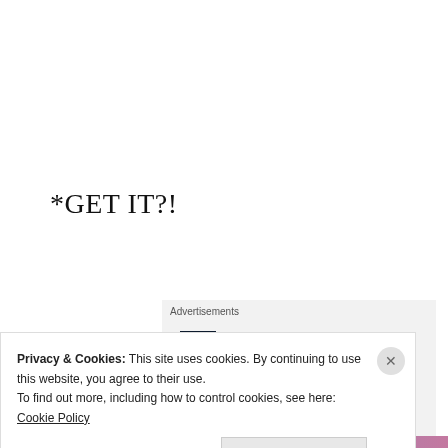*GET IT?!
[Figure (other): Advertisement banner with P2 logo and tagline 'Getting your team on the same page is easy. And free.' on a light gray background]
Privacy & Cookies: This site uses cookies. By continuing to use this website, you agree to their use.
To find out more, including how to control cookies, see here: Cookie Policy
Close and accept